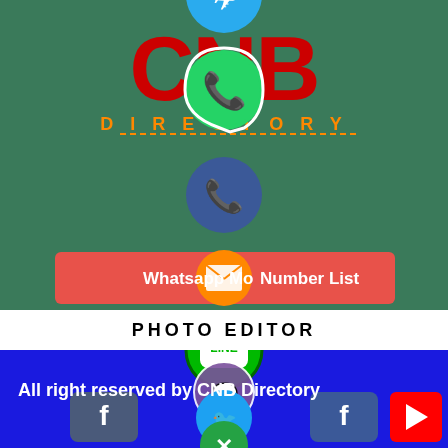[Figure (screenshot): CNB Directory app screenshot showing social media icons (Telegram, WhatsApp, phone/call button, email icon) overlaid on a teal/green background with red CNB Directory logo text and a red button labeled 'Whatsapp Mobile Number List']
PHOTO EDITOR
[Figure (screenshot): Blue background section with LINE app icon, Viber icon, Facebook, Twitter, YouTube social media icons, and a green plus/close button]
All right reserved by CNB Directory